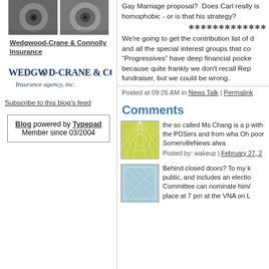[Figure (photo): Two circular tunnel/drain photos side by side]
Wedgwood-Crane & Connolly Insurance
[Figure (logo): Wedgwood-Crane & Connolly Insurance agency, inc. logo]
Subscribe to this blog's feed
Blog powered by Typepad
Member since 03/2004
Gay Marriage proposal?  Does Carl really is homophobic - or is that his strategy?
We're going to get the contribution list of d and all the special interest groups that co “Progressives” have deep financial pocke because quite frankly we don't recall Rep fundraiser, but we could be wrong.
Posted at 09:26 AM in News Talk | Permalink
Comments
[Figure (illustration): Green abstract geometric avatar icon]
the so called Ms Chang is a p with the PDSers and from wha Oh poor SomervilleNews alwa
Posted by: wakeup | February 27, 2
[Figure (illustration): Blue/teal abstract geometric avatar icon]
Behind closed doors? To my k public, and includes an electio Committee can nominate him/ place at 7 pm at the VNA on L